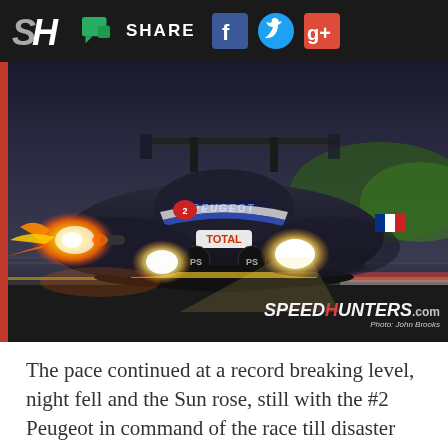SH | SHARE [Facebook] [Twitter] [Google+]
[Figure (photo): A Peugeot Le Mans prototype racing car with PEUGEOT branding, Total and PlayStation sponsorship, shooting flames from the exhaust on the left side, headlights blazing, photographed at speed on a race circuit. Speedhunters.com watermark and Photo: John Brooks credit in lower right.]
The pace continued at a record breaking level, night fell and the Sun rose, still with the #2 Peugeot in command of the race till disaster struck at 7.04am